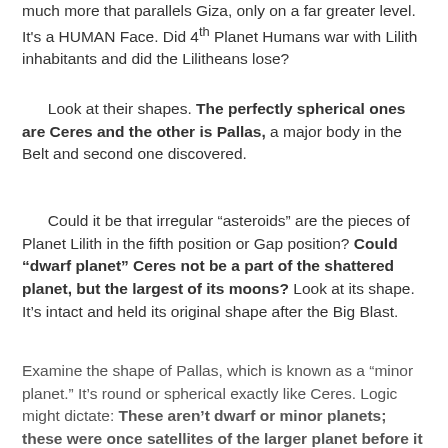much more that parallels Giza, only on a far greater level. It's a HUMAN Face. Did 4th Planet Humans war with Lilith inhabitants and did the Lilitheans lose?
Look at their shapes. The perfectly spherical ones are Ceres and the other is Pallas, a major body in the Belt and second one discovered.
Could it be that irregular "asteroids" are the pieces of Planet Lilith in the fifth position or Gap position? Could "dwarf planet" Ceres not be a part of the shattered planet, but the largest of its moons? Look at its shape. It's intact and held its original shape after the Big Blast.
Examine the shape of Pallas, which is known as a "minor planet." It's round or spherical exactly like Ceres. Logic might dictate: These aren't dwarf or minor planets; these were once satellites of the larger planet before it